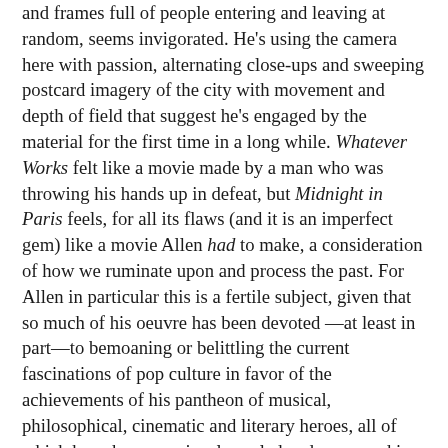and frames full of people entering and leaving at random, seems invigorated. He's using the camera here with passion, alternating close-ups and sweeping postcard imagery of the city with movement and depth of field that suggest he's engaged by the material for the first time in a long while. Whatever Works felt like a movie made by a man who was throwing his hands up in defeat, but Midnight in Paris feels, for all its flaws (and it is an imperfect gem) like a movie Allen had to make, a consideration of how we ruminate upon and process the past. For Allen in particular this is a fertile subject, given that so much of his oeuvre has been devoted —at least in part—to bemoaning or belittling the current fascinations of pop culture in favor of the achievements of his pantheon of musical, philosophical, cinematic and literary heroes, all of which have been previously sealed and preserved in Allen's nostalgic amber. Here the amber melts, allowing the director to consider the past as if it were present, with melancholy results. Some have found the very substance of Allen's fantasia to be a bit too spot on, as if one could actually roam the streets of Paris in the '20s and bump into F. Scott and Zelda Fitzgerald, Ernest Hemingway, Salvador Dali and Luis Bunuel, all of whom would be talking